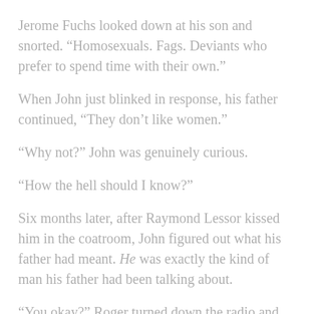Jerome Fuchs looked down at his son and snorted. “Homosexuals. Fags. Deviants who prefer to spend time with their own.”
When John just blinked in response, his father continued, “They don’t like women.”
“Why not?” John was genuinely curious.
“How the hell should I know?”
Six months later, after Raymond Lessor kissed him in the coatroom, John figured out what his father had meant. He was exactly the kind of man his father had been talking about.
“You okay?” Roger turned down the radio and looked at him.